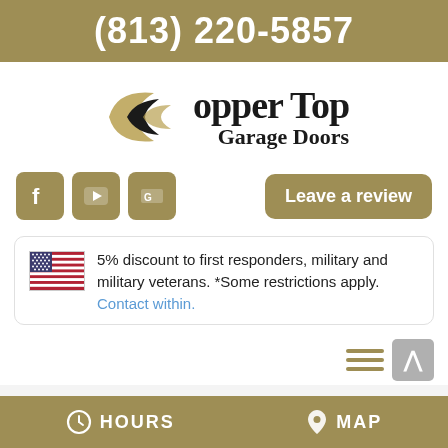(813) 220-5857
[Figure (logo): Kopper Top Garage Doors logo with golden leaf/arrow shapes and bold serif text]
[Figure (infographic): Social media icons (Facebook, YouTube, Google) and Leave a review button]
5% discount to first responders, military and military veterans. *Some restrictions apply. Contact within.
[Figure (infographic): Hamburger menu icon and up arrow button]
Home / Garage Doors, Lithia, FL
HOURS  MAP